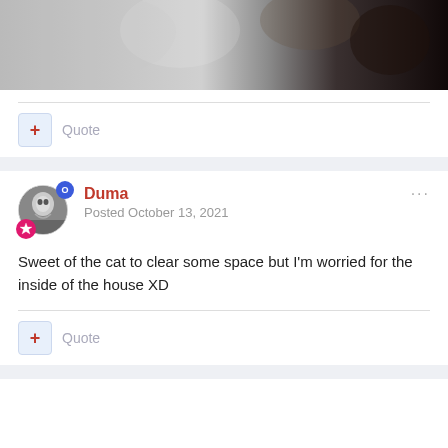[Figure (photo): Partial view of a cat near a wall or surface, grayscale-toned image cropped at top]
Quote
Duma
Posted October 13, 2021
Sweet of the cat to clear some space but I'm worried for the inside of the house XD
Quote